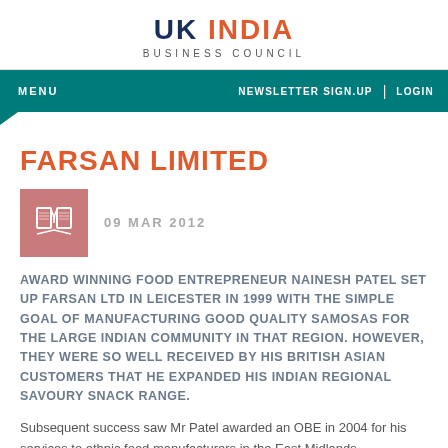UK INDIA BUSINESS COUNCIL
FARSAN LIMITED
[Figure (illustration): Book/document icon in a salmon/pink square tile]
09 MAR 2012
AWARD WINNING FOOD ENTREPRENEUR NAINESH PATEL SET UP FARSAN LTD IN LEICESTER IN 1999 WITH THE SIMPLE GOAL OF MANUFACTURING GOOD QUALITY SAMOSAS FOR THE LARGE INDIAN COMMUNITY IN THAT REGION. HOWEVER, THEY WERE SO WELL RECEIVED BY HIS BRITISH ASIAN CUSTOMERS THAT HE EXPANDED HIS INDIAN REGIONAL SAVOURY SNACK RANGE.
Subsequent success saw Mr Patel awarded an OBE in 2004 for his services to ethnic food manufacturers in the East Midlands